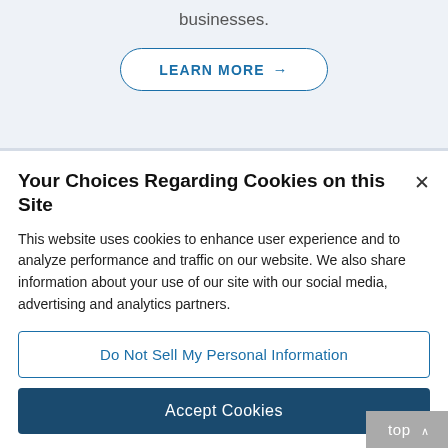businesses.
LEARN MORE →
Your Choices Regarding Cookies on this Site
This website uses cookies to enhance user experience and to analyze performance and traffic on our website. We also share information about your use of our site with our social media, advertising and analytics partners.
Do Not Sell My Personal Information
Accept Cookies
top ∧